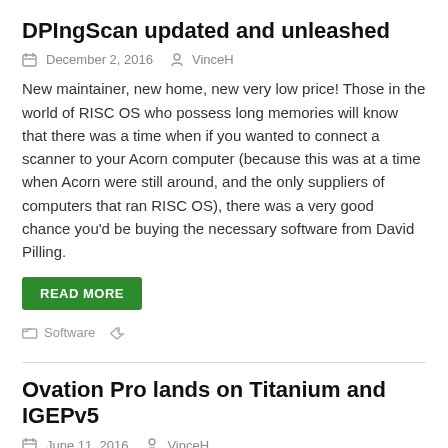DPIngScan updated and unleashed
December 2, 2016   VinceH
New maintainer, new home, new very low price! Those in the world of RISC OS who possess long memories will know that there was a time when if you wanted to connect a scanner to your Acorn computer (because this was at a time when Acorn were still around, and the only suppliers of computers that ran RISC OS), there was a very good chance you'd be buying the necessary software from David Pilling.
READ MORE
Software
Ovation Pro lands on Titanium and IGEPv5
June 11, 2016   VinceH
A new version of desktop publishing application Ovation Pro has